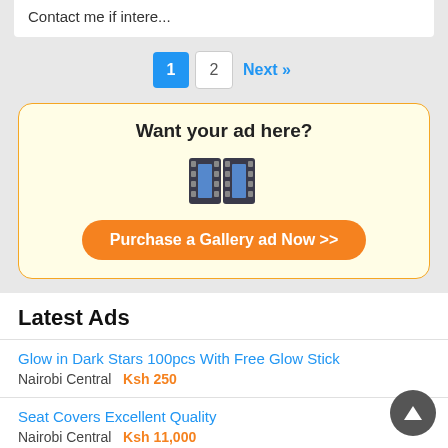Contact me if intere...
1  2  Next »
[Figure (infographic): Ad placement promotion box with film icon and purchase button. Title: 'Want your ad here?'. Button: 'Purchase a Gallery ad Now >>']
Latest Ads
Glow in Dark Stars 100pcs With Free Glow Stick
Nairobi Central   Ksh 250
Seat Covers Excellent Quality
Nairobi Central   Ksh 11,000
CHESTERFIELD SOFA IN KISII
Kisii   Ksh 69,999
Office desk in kisimu. Contact 0711897675